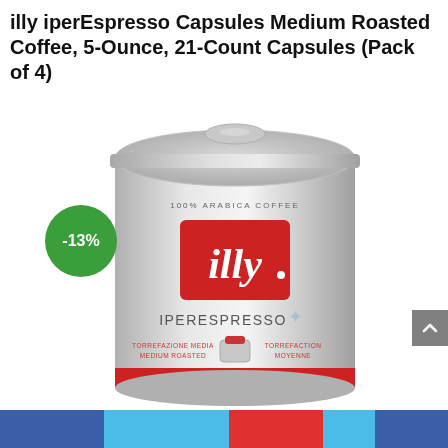illy iperEspresso Capsules Medium Roasted Coffee, 5-Ounce, 21-Count Capsules (Pack of 4)
[Figure (photo): illy iperEspresso silver tin can with red illy logo, labeled 100% Arabica Coffee, IPERESPRESSO, Medium Roasted/Torrefaction Moyenne, with a green -13% discount badge overlaid on the top-left of the image.]